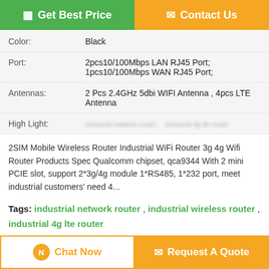[Figure (screenshot): Green 'Get Best Price' button and orange 'Contact Us' button at the top of a product page]
| Color: | Black |
| Port: | 2pcs10/100Mbps LAN RJ45 Port; 1pcs10/100Mbps WAN RJ45 Port; |
| Antennas: | 2 Pcs 2.4GHz 5dbi WIFI Antenna , 4pcs LTE Antenna |
| High Light: | [blurred text] |
2SIM Mobile Wireless Router Industrial WiFi Router 3g 4g Wifi Router Products Spec Qualcomm chipset, qca9344 With 2 mini PCIE slot, support 2*3g/4g module 1*RS485, 1*232 port, meet industrial customers' need 4...
Tags: industrial network router , industrial wireless router , industrial 4g lte router
Product Description >
Get the Best Price for
Customized 2SIM Industrial Wifi
[Figure (screenshot): Bottom navigation bar with 'Chat Now' and 'Request A Quote' buttons]